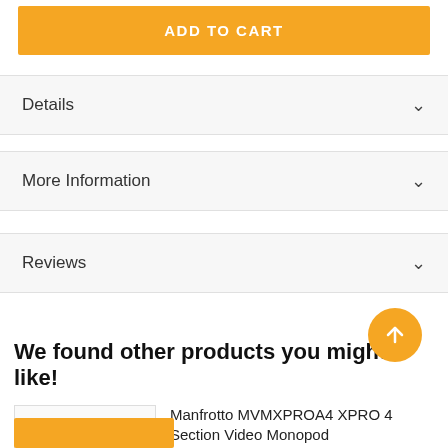ADD TO CART
Details
More Information
Reviews
We found other products you might like!
Manfrotto MVMXPROA4 XPRO 4 Section Video Monopod
Special Price
$306.00
Regular Price $369.00